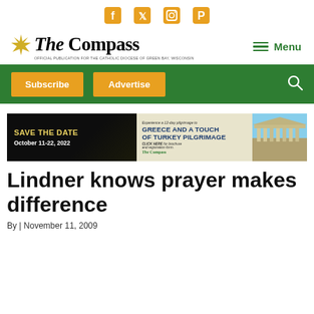Social media icons: Facebook, Twitter, Instagram, Pinterest
[Figure (logo): The Compass newspaper logo with starburst icon and tagline 'Official publication for the Catholic Diocese of Green Bay, Wisconsin']
Menu
[Figure (infographic): Green navigation bar with Subscribe and Advertise buttons and search icon]
[Figure (infographic): Advertisement banner: SAVE THE DATE October 11-22, 2022 Experience a 12-day pilgrimage to Greece and a Touch of Turkey Pilgrimage. Click here for brochure and registration form. The Compass. Image of Greek ruins/Parthenon.]
Lindner knows prayer makes difference
By | November 11, 2009